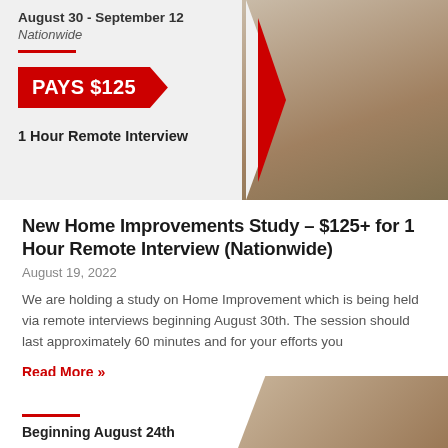[Figure (photo): Banner image showing 'August 30 - September 12 Nationwide' with 'PAYS $125' red chevron button and '1 Hour Remote Interview' text on left, person holding tools on right with red geometric overlay]
New Home Improvements Study – $125+ for 1 Hour Remote Interview (Nationwide)
August 19, 2022
We are holding a study on Home Improvement which is being held via remote interviews beginning August 30th. The session should last approximately 60 minutes and for your efforts you
Read More »
[Figure (photo): Partial banner image with red line and 'Beginning August 24th' text, person resting in background]